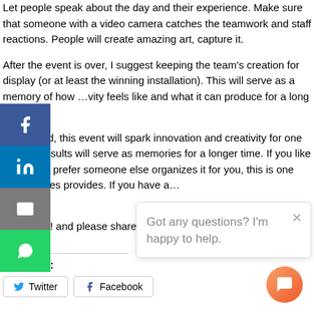Let people speak about the day and their experience. Make sure that someone with a video camera catches the teamwork and staff reactions. People will create amazing art, capture it.
After the event is over, I suggest keeping the team's creation for display (or at least the winning installation). This will serve as a memory of how …vity feels like and what it can produce for a long time.
…entioned, this event will spark innovation and creativity for one …nd its results will serve as memories for a longer time. If you like the… …ut prefer someone else organizes it for you, this is one service …es provides. If you have a… …ay.
Good luck! and please share yo…
[Figure (infographic): Social share sidebar with Facebook, LinkedIn, Email, and WhatsApp buttons]
[Figure (infographic): Chat popup saying 'Got any questions? I'm happy to help.' with close button and chat icon]
Share this:
[Figure (infographic): Twitter and Facebook share buttons]